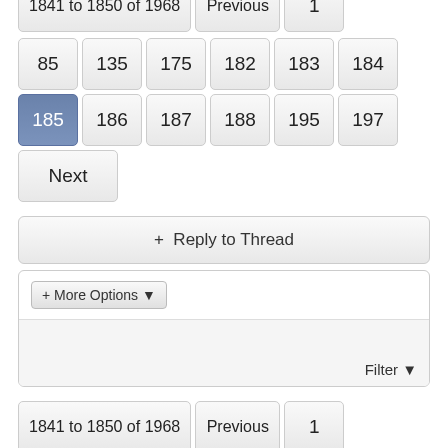1841 to 1850 of 1968 | Previous | 1 (top partial, cut off at top)
85 135 175 182 183 184
185 (active) 186 187 188 195 197
Next
+ Reply to Thread
+ More Options ▾
Filter ▾
1841 to 1850 of 1968 | Previous | 1
85 135 175 182 183 184